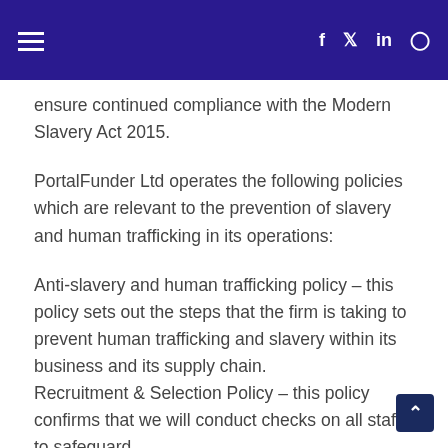Navigation menu and social icons (Facebook, Twitter, LinkedIn, Instagram)
ensure continued compliance with the Modern Slavery Act 2015.
PortalFunder Ltd operates the following policies which are relevant to the prevention of slavery and human trafficking in its operations:
Anti-slavery and human trafficking policy – this policy sets out the steps that the firm is taking to prevent human trafficking and slavery within its business and its supply chain.
Recruitment & Selection Policy – this policy confirms that we will conduct checks on all staff to safeguard